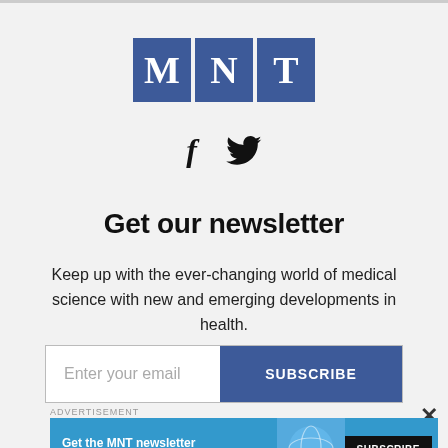[Figure (logo): MNT logo: three blue boxes each containing white serif letters M, N, T]
[Figure (illustration): Facebook 'f' icon and Twitter bird icon side by side]
Get our newsletter
Keep up with the ever-changing world of medical science with new and emerging developments in health.
Enter your email  SUBSCRIBE
ADVERTISEMENT
[Figure (infographic): MNT newsletter banner ad with teal background, text 'Get the MNT newsletter', 'Subscribe to receive our top news articles', SUBSCRIBE button in black, and globe illustration on right side]